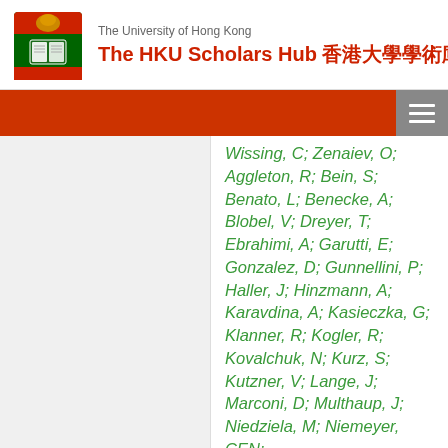The University of Hong Kong — The HKU Scholars Hub 香港大學學術庫
Wissing, C; Zenaiev, O; Aggleton, R; Bein, S; Benato, L; Benecke, A; Blobel, V; Dreyer, T; Ebrahimi, A; Garutti, E; Gonzalez, D; Gunnellini, P; Haller, J; Hinzmann, A; Karavdina, A; Kasieczka, G; Klanner, R; Kogler, R; Kovalchuk, N; Kurz, S; Kutzner, V; Lange, J; Marconi, D; Multhaup, J; Niedziela, M; Niemeyer, CEN;